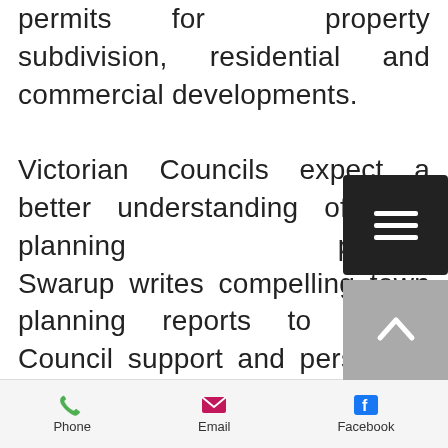permits for property subdivision, residential and commercial developments.

Victorian Councils expect a better understanding of their planning poli... Swarup writes compelling town planning reports to garner Council support and personally oversees each application-from site potential assessment to permit winning designs and documentation and effective council
[Figure (other): Hamburger menu button (three horizontal lines on dark background)]
[Figure (other): Scroll to top button (upward arrow on grey background)]
Phone   Email   Facebook